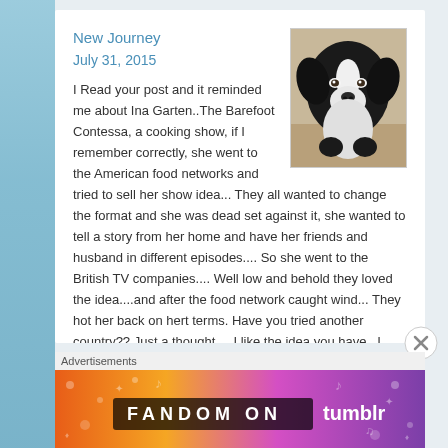New Journey
July 31, 2015
[Figure (photo): Black and white dog looking at camera]
I Read your post and it reminded me about Ina Garten..The Barefoot Contessa, a cooking show, if I remember correctly, she went to the American food networks and tried to sell her show idea... They all wanted to change the format and she was dead set against it, she wanted to tell a story from her home and have her friends and husband in different episodes.... So she went to the British TV companies.... Well low and behold they loved the idea....and after the food network caught wind... They hot her back on hert terms. Have you tried another country?? Just a thought.... I like the idea you have. .I
Advertisements
[Figure (screenshot): Fandom on Tumblr advertisement banner with colorful gradient background]